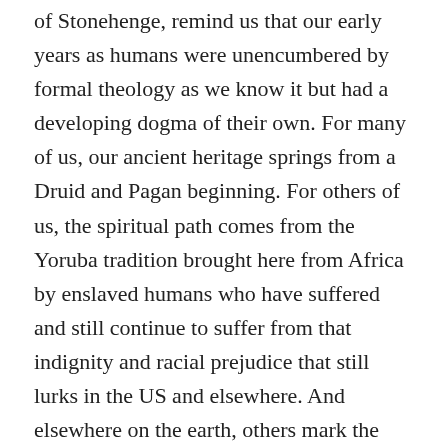of Stonehenge, remind us that our early years as humans were unencumbered by formal theology as we know it but had a developing dogma of their own. For many of us, our ancient heritage springs from a Druid and Pagan beginning. For others of us, the spiritual path comes from the Yoruba tradition brought here from Africa by enslaved humans who have suffered and still continue to suffer from that indignity and racial prejudice that still lurks in the US and elsewhere. And elsewhere on the earth, others mark the winter solstice in their own unique ways, or not at all.
I was married at 20 to a rebellious fifth generation Friend in a solemn Philadelphia Quaker meeting, and they don't incorporate music in their meetings, or didn't then at any rate. Alas, a few years later I was a single mom looking for something that was missing. Thus I